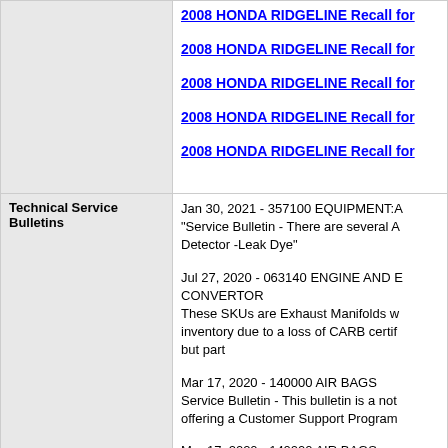2008 HONDA RIDGELINE Recall for
2008 HONDA RIDGELINE Recall for
2008 HONDA RIDGELINE Recall for
2008 HONDA RIDGELINE Recall for
2008 HONDA RIDGELINE Recall for
Technical Service Bulletins
Jan 30, 2021 - 357100 EQUIPMENT:A "Service Bulletin - There are several A Detector -Leak Dye"
Jul 27, 2020 - 063140 ENGINE AND B CONVERTOR These SKUs are Exhaust Manifolds w inventory due to a loss of CARB certif but part
Mar 17, 2020 - 140000 AIR BAGS Service Bulletin - This bulletin is a not offering a Customer Support Program
Mar 17, 2020 - 140000 AIR BAGS Service Bulletin - This bulletin is a not offering a Customer Support Program
Jun 18, 2018 - 140000 AIR BAGS Service bulletin - This bulletin is a noti